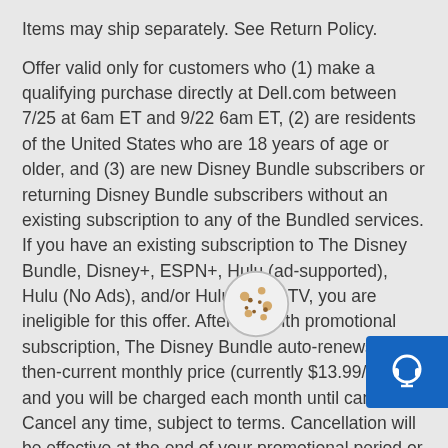Items may ship separately. See Return Policy.
Offer valid only for customers who (1) make a qualifying purchase directly at Dell.com between 7/25 at 6am ET and 9/22 6am ET, (2) are residents of the United States who are 18 years of age or older, and (3) are new Disney Bundle subscribers or returning Disney Bundle subscribers without an existing subscription to any of the Bundled services. If you have an existing subscription to The Disney Bundle, Disney+, ESPN+, Hulu (ad-supported), Hulu (No Ads), and/or Hulu + Live TV, you are ineligible for this offer. After 6 month promotional subscription, The Disney Bundle auto-renews at the then-current monthly price (currently $13.99/month), and you will be charged each month until canceled. Cancel any time, subject to terms. Cancellation will be effective at the end of your promotional period or billing period. No refunds or credits for partial months or years. Valid payment method required to redeem offer. Must redeem offer code by 1/22 11:59 pm ET. Offer cannot be combined with any other promotional offer or pricing and is not redeemable for cash or any other goods or services. Offer limited to one per customer. Dell reserves the right to modify or cancel the offer at any time. Offer is nontransferable and cannot be
[Figure (other): Cookie consent icon - circular icon with cookie and dots]
[Figure (other): Blue chat/headset support button in bottom right corner]